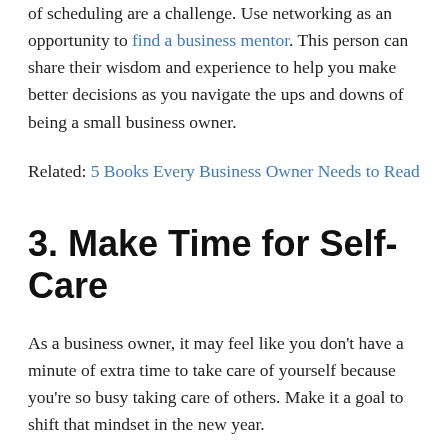of scheduling are a challenge. Use networking as an opportunity to find a business mentor. This person can share their wisdom and experience to help you make better decisions as you navigate the ups and downs of being a small business owner.
Related: 5 Books Every Business Owner Needs to Read
3. Make Time for Self-Care
As a business owner, it may feel like you don't have a minute of extra time to take care of yourself because you're so busy taking care of others. Make it a goal to shift that mindset in the new year.